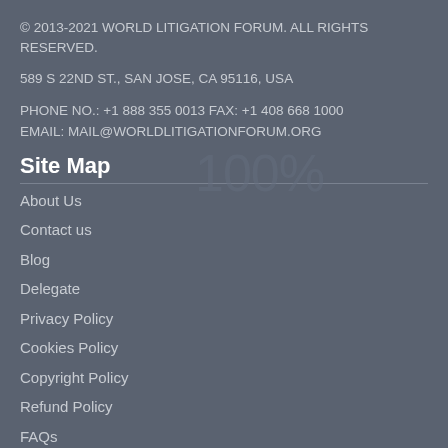© 2013-2021 WORLD LITIGATION FORUM. ALL RIGHTS RESERVED.
589 S 22ND ST., SAN JOSE, CA 95116, USA
PHONE NO.: +1 888 355 0013 FAX: +1 408 668 1000
EMAIL: MAIL@WORLDLITIGATIONFORUM.ORG
Site Map
About Us
Contact us
Blog
Delegate
Privacy Policy
Cookies Policy
Copyright Policy
Refund Policy
FAQs